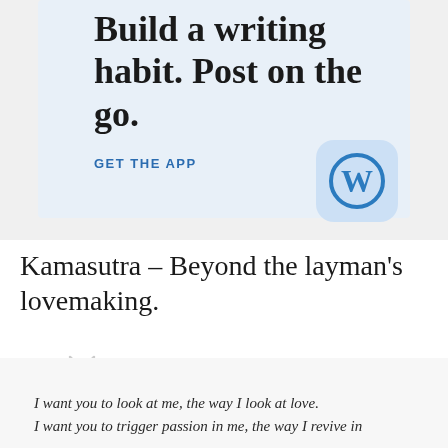[Figure (infographic): WordPress app advertisement banner with light blue background. Large serif text reads 'Build a writing habit. Post on the go.' with a 'GET THE APP' call-to-action link and the WordPress 'W' logo icon in a rounded square.]
Kamasutra – Beyond the layman's lovemaking.
I want you to look at me, the way I look at love.
I want you to trigger passion in me, the way I revive in